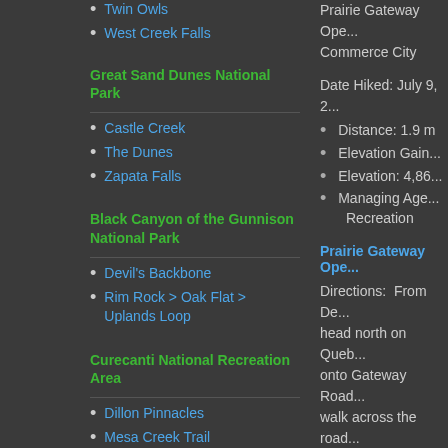Twin Owls
West Creek Falls
Great Sand Dunes National Park
Castle Creek
The Dunes
Zapata Falls
Black Canyon of the Gunnison National Park
Devil's Backbone
Rim Rock > Oak Flat > Uplands Loop
Curecanti National Recreation Area
Dillon Pinnacles
Mesa Creek Trail
Stormy Evening Drive
Colorado National Monument
Prairie Gateway Ope... Commerce City
Date Hiked: July 9, 2...
Distance: 1.9 m
Elevation Gain...
Elevation: 4,86...
Managing Age... Recreation
Prairie Gateway Ope...
Directions: From De... head north on Queb... onto Gateway Road... walk across the road...
Prairie Gateway Ope... Goods Stadium and... Wildlife Refuge. The... an open prairie area... the Front Range Mo... neighboring Wildlife... main park that does...